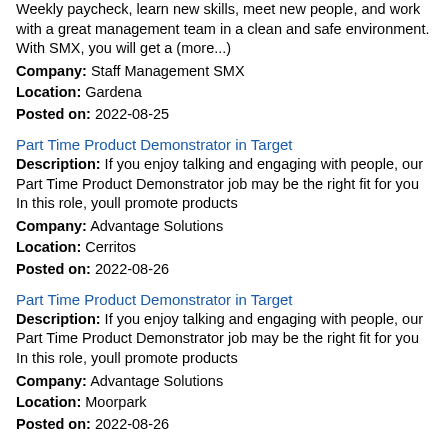Weekly paycheck, learn new skills, meet new people, and work with a great management team in a clean and safe environment. With SMX, you will get a (more...)
Company: Staff Management SMX
Location: Gardena
Posted on: 2022-08-25
Part Time Product Demonstrator in Target
Description: If you enjoy talking and engaging with people, our Part Time Product Demonstrator job may be the right fit for you In this role, youll promote products
Company: Advantage Solutions
Location: Cerritos
Posted on: 2022-08-26
Part Time Product Demonstrator in Target
Description: If you enjoy talking and engaging with people, our Part Time Product Demonstrator job may be the right fit for you In this role, youll promote products
Company: Advantage Solutions
Location: Moorpark
Posted on: 2022-08-26
Part Time Product Demonstrator in Target
Description: If you enjoy talking and engaging with people, our Part Time Product Demonstrator job may be the right fit for you In this role, youll promote products
Company: Advantage Solutions